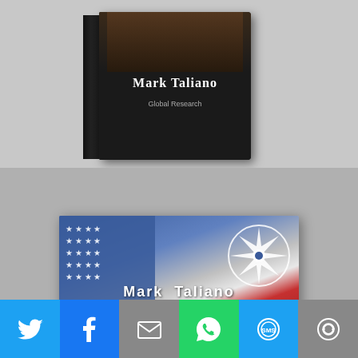[Figure (photo): Book cover rendered in 3D perspective showing 'Mark Taliano' and 'Global Research' on a dark cover with a figure image at top]
[Figure (photo): Book cover 'Was in Syrien tatsächlich geschieht' by Mark Taliano, with USA and NATO flags background, blue and red German title text, subtitle 'Augenzeugen widersprechen den westlichen Medienlügen']
[Figure (infographic): Social media share bar with icons for Twitter, Facebook, Email, WhatsApp, SMS, and More sharing options]